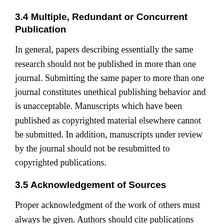3.4 Multiple, Redundant or Concurrent Publication
In general, papers describing essentially the same research should not be published in more than one journal. Submitting the same paper to more than one journal constitutes unethical publishing behavior and is unacceptable. Manuscripts which have been published as copyrighted material elsewhere cannot be submitted. In addition, manuscripts under review by the journal should not be resubmitted to copyrighted publications.
3.5 Acknowledgement of Sources
Proper acknowledgment of the work of others must always be given. Authors should cite publications that have been influential in determining the nature of the reported work. Information obtained privately, as in conversation, correspondence, or discussion with third parties, must not be used or reported without explicit, written permission from the